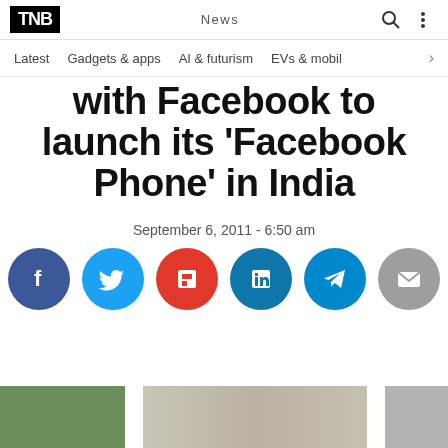TNW News
Latest   Gadgets & apps   AI & futurism   EVs & mobil
with Facebook to launch its 'Facebook Phone' in India
September 6, 2011 - 6:50 am
[Figure (infographic): Social sharing buttons: Facebook, Twitter, Flipboard, LinkedIn, Telegram, Email]
[Figure (photo): Bottom partial image strip showing outdoor scene]